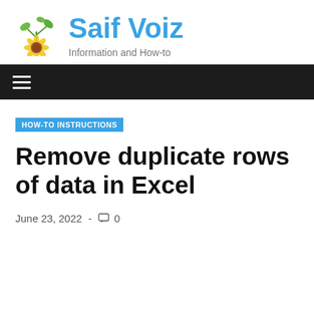[Figure (logo): Saif Voiz website logo with sunflower and leaves icon and blue site title text]
Saif Voiz
Information and How-to
HOW-TO INSTRUCTIONS
Remove duplicate rows of data in Excel
June 23, 2022  -  0